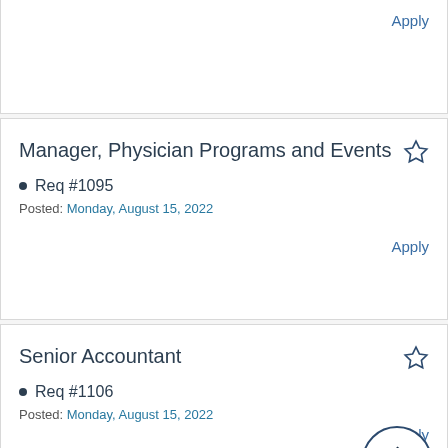Apply
Manager, Physician Programs and Events
Req #1095
Posted: Monday, August 15, 2022
Apply
Senior Accountant
Req #1106
Posted: Monday, August 15, 2022
Apply